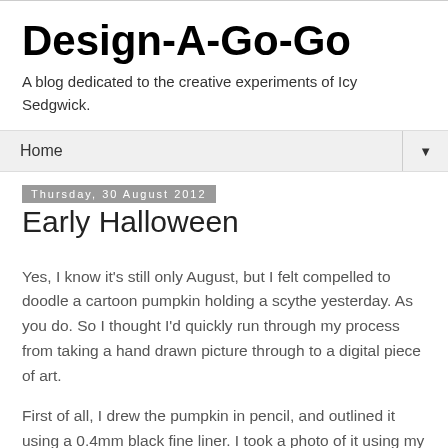Design-A-Go-Go
A blog dedicated to the creative experiments of Icy Sedgwick.
Home ▼
Thursday, 30 August 2012
Early Halloween
Yes, I know it's still only August, but I felt compelled to doodle a cartoon pumpkin holding a scythe yesterday. As you do. So I thought I'd quickly run through my process from taking a hand drawn picture through to a digital piece of art.
First of all, I drew the pumpkin in pencil, and outlined it using a 0.4mm black fine liner. I took a photo of it using my camera phone and emailed it to myself.